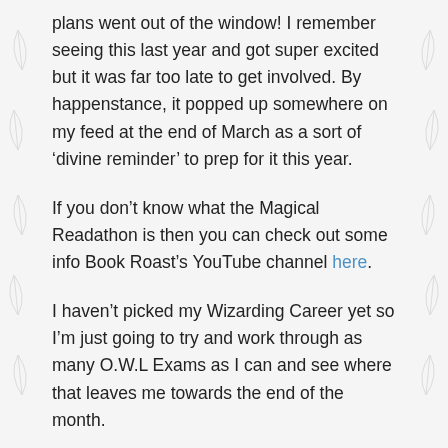plans went out of the window! I remember seeing this last year and got super excited but it was far too late to get involved. By happenstance, it popped up somewhere on my feed at the end of March as a sort of ‘divine reminder’ to prep for it this year.
If you don’t know what the Magical Readathon is then you can check out some info Book Roast’s YouTube channel here.
I haven’t picked my Wizarding Career yet so I’m just going to try and work through as many O.W.L Exams as I can and see where that leaves me towards the end of the month.
Here is my TBR for the 2019 O.W.L examinations. I’m still looking for an Astronomy book so if anyone has any suggestions feel free to drop me a comment